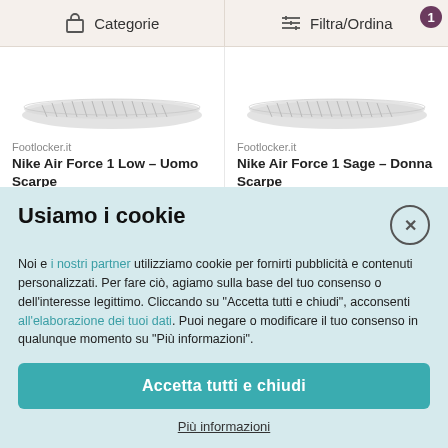[Figure (screenshot): Navigation bar with Categorie and Filtra/Ordina buttons, with a badge showing 1]
[Figure (photo): Nike Air Force 1 Low shoe sole viewed from above on white background]
Footlocker.it
Nike Air Force 1 Low - Uomo Scarpe
134,99 €*
[Figure (photo): Nike Air Force 1 Sage shoe sole viewed from above on white background]
Footlocker.it
Nike Air Force 1 Sage - Donna Scarpe
109,99 €*
Usiamo i cookie
Noi e i nostri partner utilizziamo cookie per fornirti pubblicità e contenuti personalizzati. Per fare ciò, agiamo sulla base del tuo consenso o dell'interesse legittimo. Cliccando su "Accetta tutti e chiudi", acconsenti all'elaborazione dei tuoi dati. Puoi negare o modificare il tuo consenso in qualunque momento su "Più informazioni".
Accetta tutti e chiudi
Più informazioni